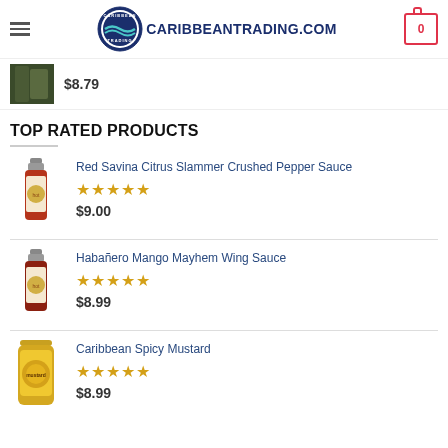CARIBBEANTRADING.COM
$8.79
TOP RATED PRODUCTS
Red Savina Citrus Slammer Crushed Pepper Sauce — ★★★★★ — $9.00
Habañero Mango Mayhem Wing Sauce — ★★★★★ — $8.99
Caribbean Spicy Mustard — ★★★★★ — $8.99